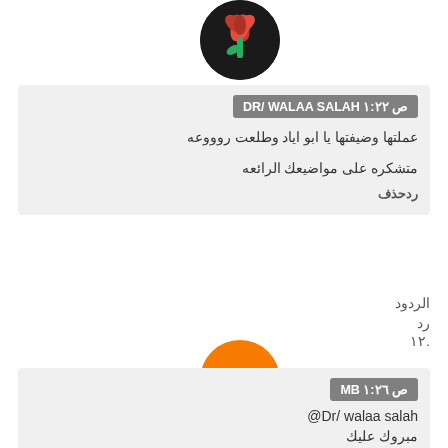[Figure (photo): Circular profile photo showing red flower/carnation on dark background, positioned top center-right]
DR/ WALAA SALAH ص ١:٢٢
عملتها وضيفتها يا ابو اياد وطلعت روووعه
متشكره على مواضيعك الرائعه
ردحذف
الردود
رد
.١٢
[Figure (logo): Blogger logo - orange circle with white B letter]
MB ص ١:٢٦
@Dr/ walaa salah
مبروك عليك
ردحذف
[Figure (other): Blue scroll-to-top button with upward arrow, with blue line above it]
الردود
رد